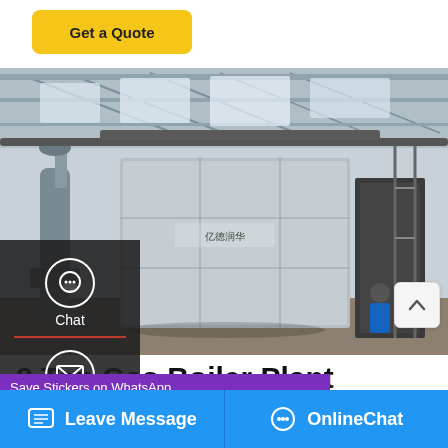Get a Quote
[Figure (photo): Industrial boiler plant interior showing large silver insulated boiler unit with Chinese text branding, pipes, workers, and industrial factory ceiling with steel trusses]
8 Ton Gas Boiler Plant Commercial Lithuania
...er Plant Seller Ukraine. Commercial 8
Save Stickers on WhatsApp
Leave Message
OnlineChat